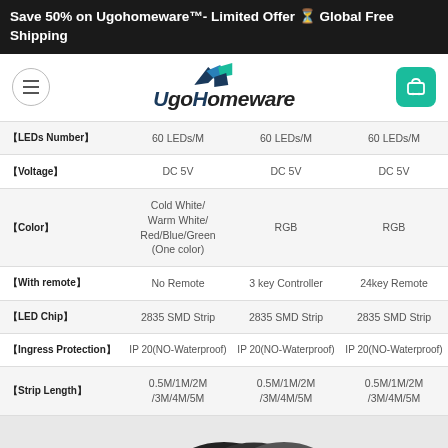Save 50% on Ugohomeware™- Limited Offer ⏳ Global Free Shipping
[Figure (logo): UgoHomeware logo with geometric blue/teal shapes and italic bold text]
|  | Col1 | Col2 | Col3 |
| --- | --- | --- | --- |
| 【LEDs Number】 | 60 LEDs/M | 60 LEDs/M | 60 LEDs/M |
| 【Voltage】 | DC 5V | DC 5V | DC 5V |
| 【Color】 | Cold White/ Warm White/ Red/Blue/Green (One color) | RGB | RGB |
| 【With remote】 | No Remote | 3 key Controller | 24key Remote |
| 【LED Chip】 | 2835 SMD Strip | 2835 SMD Strip | 2835 SMD Strip |
| 【Ingress Protection】 | IP 20(NO-Waterproof) | IP 20(NO-Waterproof) | IP 20(NO-Waterproof) |
| 【Strip Length】 | 0.5M/1M/2M /3M/4M/5M | 0.5M/1M/2M /3M/4M/5M | 0.5M/1M/2M /3M/4M/5M |
[Figure (photo): Black cables/rings at bottom of page]